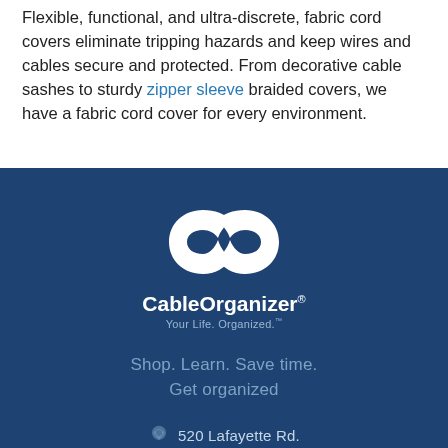Flexible, functional, and ultra-discrete, fabric cord covers eliminate tripping hazards and keep wires and cables secure and protected. From decorative cable sashes to sturdy zipper sleeve braided covers, we have a fabric cord cover for every environment.
[Figure (logo): CableOrganizer logo: two overlapping C-shaped loops forming an infinity-like symbol in white on a dark blue background, with the text 'CableOrganizer®' and tagline 'Your Life. Organized.™' below]
Shop. Learn. Save time. Get organized
520 Lafayette Rd.